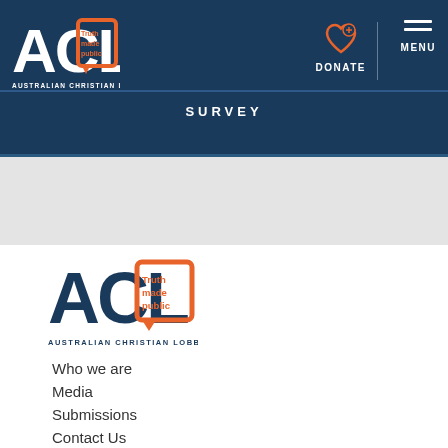[Figure (logo): ACL Australian Christian Lobby logo in white on dark navy header bar]
[Figure (logo): Donate icon (heart with plus) in orange, with DONATE label in white]
[Figure (other): Hamburger menu icon (three white horizontal lines) with MENU label]
SURVEY
[Figure (logo): ACL Australian Christian Lobby logo, large, in navy and orange on white background]
Who we are
Media
Submissions
Contact Us
Privacy Policy